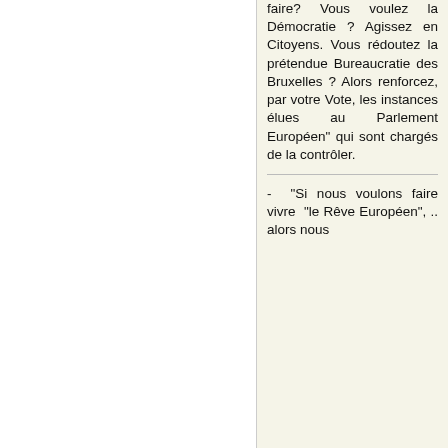faire? Vous voulez la Démocratie ? Agissez en Citoyens. Vous rédoutez la prétendue Bureaucratie des Bruxelles ? Alors renforcez, par votre Vote, les instances élues au Parlement Européen" qui sont chargés de la contrôler.
- "Si nous voulons faire vivre "le Rêve Européen", .. alors nous